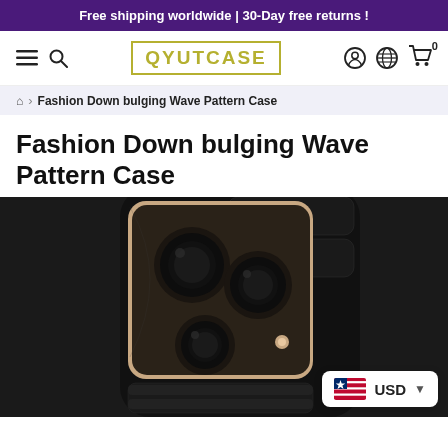Free shipping worldwide | 30-Day free returns !
[Figure (logo): QYUTCASE logo in olive/gold bordered box, with hamburger menu, search icon, user icon, globe icon, and cart icon with 0 badge in navigation bar]
⌂ › Fashion Down bulging Wave Pattern Case
Fashion Down bulging Wave Pattern Case
[Figure (photo): Close-up photo of a black puffer/quilted iPhone case showing the back with camera cutout revealing rose gold camera module with three lenses, on dark background]
USD ▼